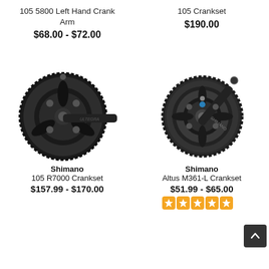105 5800 Left Hand Crank Arm
$68.00 - $72.00
105 Crankset
$190.00
[Figure (photo): Shimano 105 R7000 crankset, black double chainring crankset on white background]
[Figure (photo): Shimano Altus M361-L crankset, triple chainring crankset on white background]
Shimano 105 R7000 Crankset
$157.99 - $170.00
Shimano Altus M361-L Crankset
$51.99 - $65.00
[Figure (other): 5-star rating shown in orange squares]